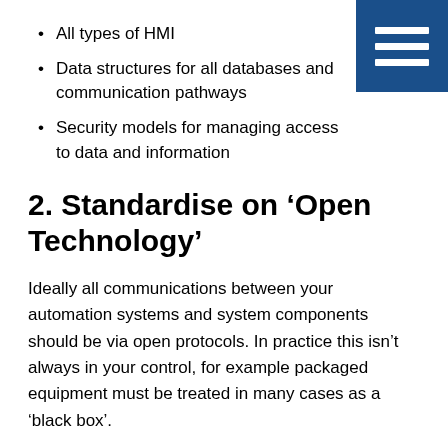All types of HMI
Data structures for all databases and communication pathways
Security models for managing access to data and information
2. Standardise on ‘Open Technology’
Ideally all communications between your automation systems and system components should be via open protocols. In practice this isn’t always in your control, for example packaged equipment must be treated in many cases as a ‘black box’.
Consider how far down in your architecture you wish to